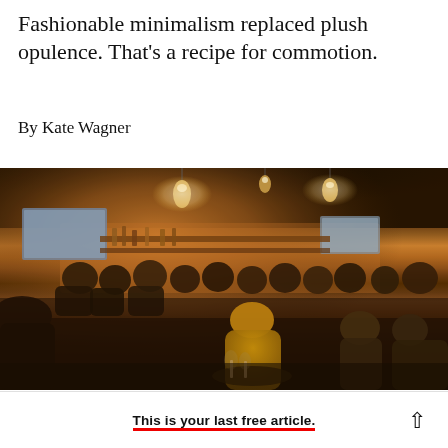Fashionable minimalism replaced plush opulence. That's a recipe for commotion.
By Kate Wagner
[Figure (photo): Interior of a crowded, dimly lit restaurant/bar with pendant lights hanging from the ceiling, patrons seated at tables, a woman in a yellow sweater prominently visible in the foreground, warm amber lighting throughout.]
This is your last free article.